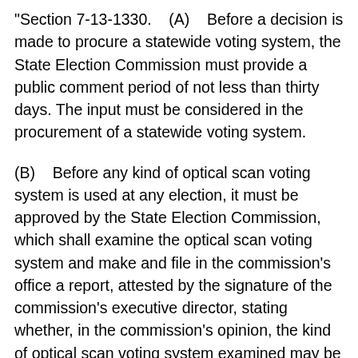"Section 7-13-1330.    (A)    Before a decision is made to procure a statewide voting system, the State Election Commission must provide a public comment period of not less than thirty days. The input must be considered in the procurement of a statewide voting system.
(B)    Before any kind of optical scan voting system is used at any election, it must be approved by the State Election Commission, which shall examine the optical scan voting system and make and file in the commission's office a report, attested by the signature of the commission's executive director, stating whether, in the commission's opinion, the kind of optical scan voting system examined may be accurately and efficiently used by electors at elections, as provided by law. An optical scan voting system may not be approved for use in the State unless certified by a testing laboratory accredited by the Federal Election Assistance Commission, or continuing...